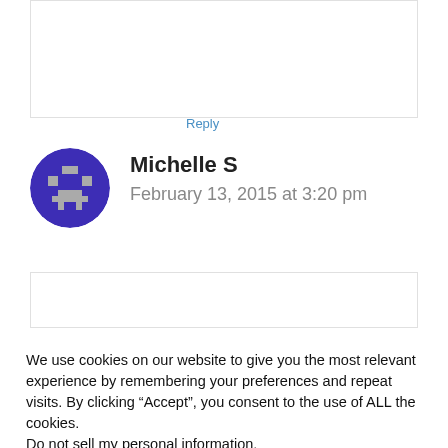Reply
Michelle S
February 13, 2015 at 3:20 pm
We use cookies on our website to give you the most relevant experience by remembering your preferences and repeat visits. By clicking “Accept”, you consent to the use of ALL the cookies. Do not sell my personal information.
Settings
Accept